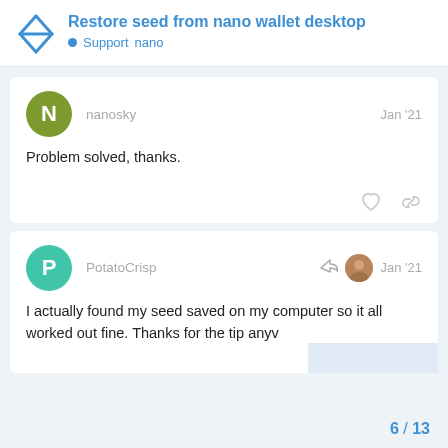Restore seed from nano wallet desktop
Support  nano
nanosky
Jan '21
Problem solved, thanks.
PotatoCrisp
Jan '21
I actually found my seed saved on my computer so it all worked out fine. Thanks for the tip anyv
6 / 13